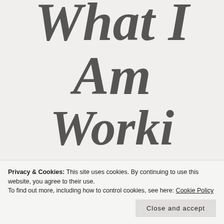What I Am Working On:
Privacy & Cookies: This site uses cookies. By continuing to use this website, you agree to their use. To find out more, including how to control cookies, see here: Cookie Policy
Close and accept